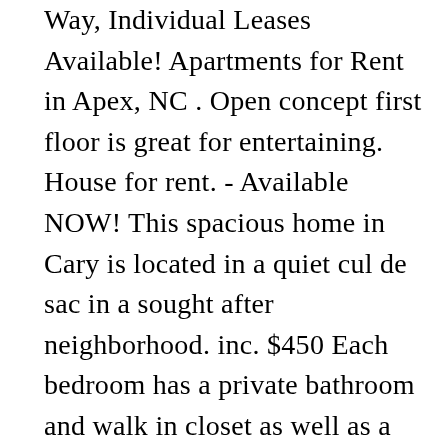Way, Individual Leases Available! Apartments for Rent in Apex, NC . Open concept first floor is great for entertaining. House for rent. - Available NOW! This spacious home in Cary is located in a quiet cul de sac in a sought after neighborhood. inc. $450 Each bedroom has a private bathroom and walk in closet as well as a separate lock for your bedroom door. No cats allowed You won't want to miss all the great restaurants and breweries in downtown Cary that are within a 3 minute drive from t... You'll love living in this 3 bed, 3 full bath townhome in Southwest Raleigh. NC, Unfurnished room with own bathroom in an apartment. Apex NC, Duck Pond Circle, Utilities Included. inc. $500